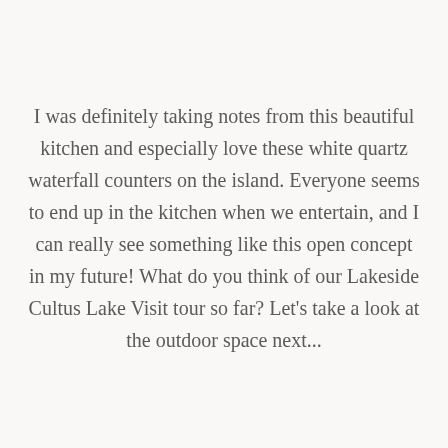I was definitely taking notes from this beautiful kitchen and especially love these white quartz waterfall counters on the island. Everyone seems to end up in the kitchen when we entertain, and I can really see something like this open concept in my future! What do you think of our Lakeside Cultus Lake Visit tour so far? Let's take a look at the outdoor space next...